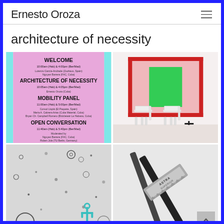Ernesto Oroza
architecture of necessity
[Figure (screenshot): Pink/lavender event program flyer with bold black text on colored background showing WELCOME, ARCHITECTURE OF NECESSITY, MOBILITY PANEL, OPEN CONVERSATION sessions with times and presenter names]
[Figure (photo): Installation photo showing two white plastic chairs in front of a large artwork: a pink rectangle with a green inner rectangle framed in red, on white wall]
[Figure (photo): Close-up microscope or scan image showing various small dark dots, circles, and a teal trident/anchor shape on a light gray background]
[Figure (photo): Close-up photo of an Astra Superior razor blade with pencils crossed behind it on white background]